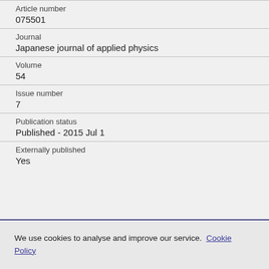| Article number | 075501 |
| Journal | Japanese journal of applied physics |
| Volume | 54 |
| Issue number | 7 |
| Publication status | Published - 2015 Jul 1 |
| Externally published | Yes |
We use cookies to analyse and improve our service. Cookie Policy